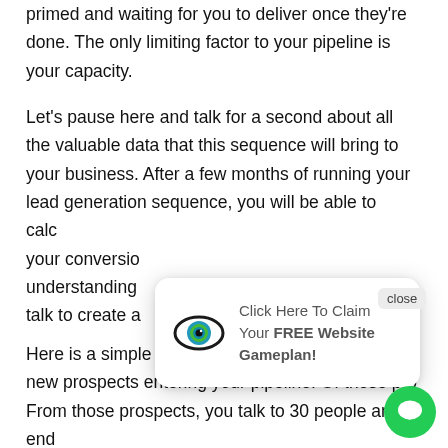primed and waiting for you to deliver once they're done. The only limiting factor to your pipeline is your capacity.
Let's pause here and talk for a second about all the valuable data that this sequence will bring to your business. After a few months of running your lead generation sequence, you will be able to calc[ulate] your conversio[n rates and have an] understanding [of how many people you need to] talk to create a[n appointment].
[Figure (other): A popup overlay with an eye logo icon on the left and the text 'Click Here To Claim Your FREE Website Gameplan!' on the right, with a 'close' button in the top-right corner.]
Here is a simple example. Let's say you have 300 new prospects entering your pipeline. Of those pro[spects, some will respond.] From those prospects, you talk to 30 people and end[...]